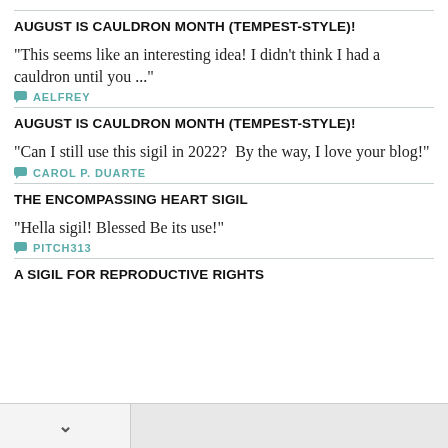AUGUST IS CAULDRON MONTH (TEMPEST-STYLE)!
"This seems like an interesting idea! I didn't think I had a cauldron until you ..."
AELFREY
AUGUST IS CAULDRON MONTH (TEMPEST-STYLE)!
"Can I still use this sigil in 2022?  By the way, I love your blog!"
CAROL P. DUARTE
THE ENCOMPASSING HEART SIGIL
"Hella sigil! Blessed Be its use!"
PITCH313
A SIGIL FOR REPRODUCTIVE RIGHTS